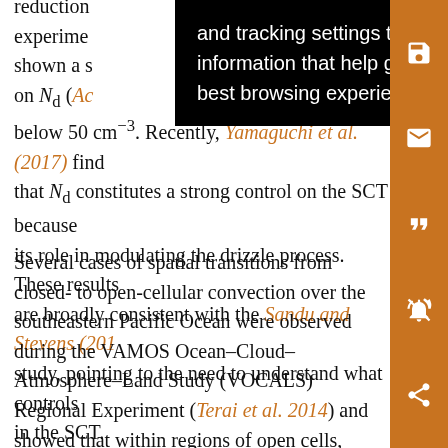reduction experiments have shown a strong coverage on N_d (Adams et al. falls below 50 cm⁻³. Recently, Yamaguchi et al. (2017) find that N_d constitutes a strong control on the SCT because its role in modulating the drizzle process. These results are broadly consistent with the Sandu and Stevens (2011) study, pointing to the need to understand what controls in the SCT.
Several cases of spatial transitions from closed- to open-cellular convection over the southeastern Pacific Ocean were observed during the VAMOS Ocean–Cloud–Atmosphere–Land Study (VOCALS) Regional Experiment (Terai et al. 2014) and showed that within regions of open cells, active Cu clouds that draw aerosol